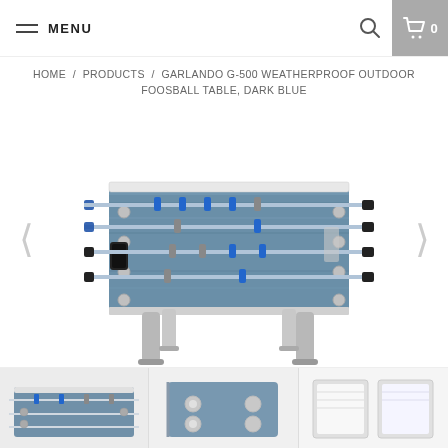MENU
HOME / PRODUCTS / GARLANDO G-500 WEATHERPROOF OUTDOOR FOOSBALL TABLE, DARK BLUE
[Figure (photo): Garlando G-500 Weatherproof Outdoor Foosball Table in Dark Blue color, shown at an angle. The table has a blue wood-grain playing surface, silver/chrome metal rods with blue and silver player figures, black handles, silver legs, and visible bolt hardware on the sides.]
[Figure (photo): Thumbnail image 1: close-up of foosball table top showing rods and players]
[Figure (photo): Thumbnail image 2: partial view of foosball table side detail]
[Figure (photo): Thumbnail image 3: partial view of foosball table documentation or box]